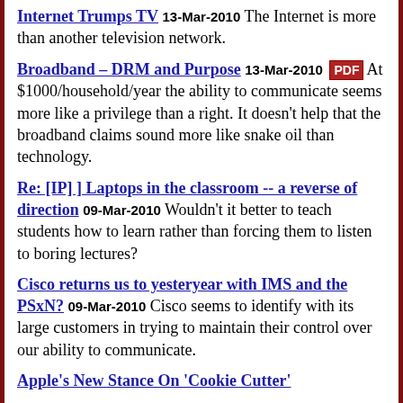Internet Trumps TV 13-Mar-2010 The Internet is more than another television network.
Broadband – DRM and Purpose 13-Mar-2010 PDF At $1000/household/year the ability to communicate seems more like a privilege than a right. It doesn't help that the broadband claims sound more like snake oil than technology.
Re: [IP] ] Laptops in the classroom -- a reverse of direction 09-Mar-2010 Wouldn't it better to teach students how to learn rather than forcing them to listen to boring lectures?
Cisco returns us to yesteryear with IMS and the PSxN? 09-Mar-2010 Cisco seems to identify with its large customers in trying to maintain their control over our ability to communicate.
Apple's New Stance On 'Cookie Cutter'